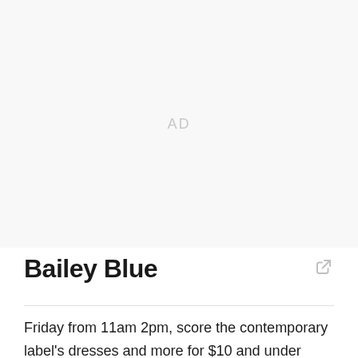[Figure (other): Advertisement placeholder area with 'AD' text centered in a light gray box]
Bailey Blue
Friday from 11am 2pm, score the contemporary label's dresses and more for $10 and under during the one-day sample sale.